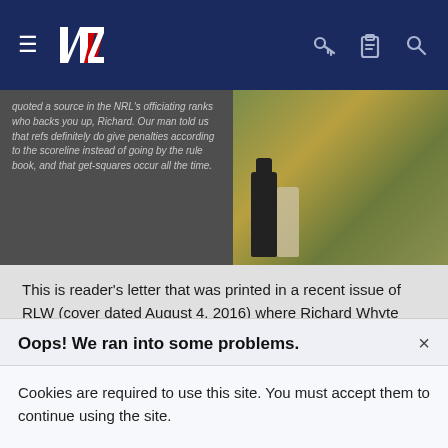NVZ website navigation bar with hamburger menu, NVZ logo, key icon, clipboard icon, search icon
[Figure (screenshot): Partially visible article image showing text overlay on left with italic caption about NRL officiating, and bottles/green background on right]
This is reader's letter that was printed in a recent issue of RLW (cover dated August 4, 2016) where Richard Whyte from Bathurst NSW wrote and I quote " Jamie Lyon's recent suggestion that the referee's were "refereeing Souths back into the game" in their last match against Manly last month isn't far fetched. I'm Souths fan. In recent years the referees have seemed less I rent on ensuring a true contest between teams. Instead, their intent seems to be to apply the rules to ensure an entertaining game right to bell - and with the penalties evenly shared, if possible. Teams that fall behind on the scoreboard
Oops! We ran into some problems.
Cookies are required to use this site. You must accept them to continue using the site.